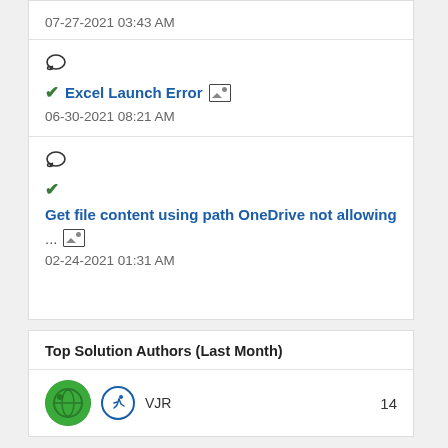07-27-2021 03:43 AM
[Figure (illustration): Speech bubble / comment icon]
✔ Excel Launch Error [image icon]
06-30-2021 08:21 AM
[Figure (illustration): Speech bubble / comment icon]
✔ Get file content using path OneDrive not allowing ... [image icon]
02-24-2021 01:31 AM
Top Solution Authors (Last Month)
VJR  14